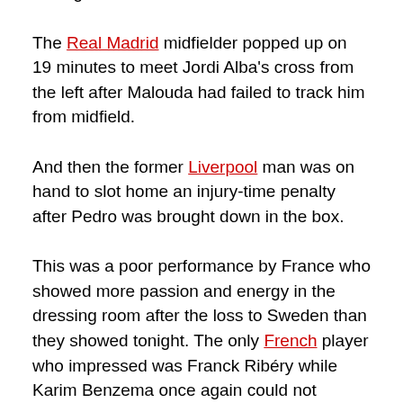Portugal next week.
The Real Madrid midfielder popped up on 19 minutes to meet Jordi Alba's cross from the left after Malouda had failed to track him from midfield.
And then the former Liverpool man was on hand to slot home an injury-time penalty after Pedro was brought down in the box.
This was a poor performance by France who showed more passion and energy in the dressing room after the loss to Sweden than they showed tonight. The only French player who impressed was Franck Ribéry while Karim Benzema once again could not perform on the big stage. Benzema is repeatedly billed as one of the best strikers in the world, but he was really disappointing in these Euros, failing to score.